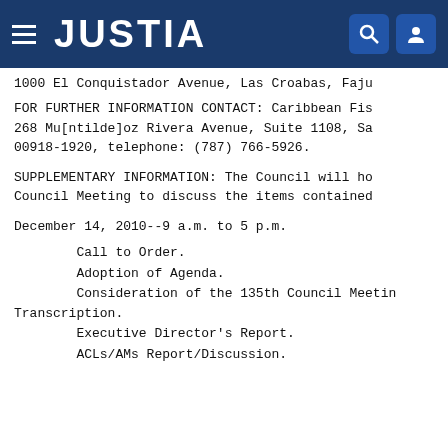JUSTIA
1000 El Conquistador Avenue, Las Croabas, Faju
FOR FURTHER INFORMATION CONTACT: Caribbean Fis
268 Mu[ntilde]oz Rivera Avenue, Suite 1108, Sa
00918-1920, telephone: (787) 766-5926.
SUPPLEMENTARY INFORMATION: The Council will ho
Council Meeting to discuss the items contained
December 14, 2010--9 a.m. to 5 p.m.
Call to Order.
Adoption of Agenda.
Consideration of the 135th Council Meetin
Transcription.
Executive Director's Report.
ACLs/AMs Report/Discussion.